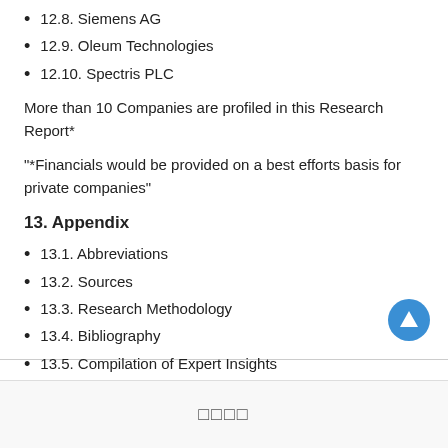12.8. Siemens AG
12.9. Oleum Technologies
12.10. Spectris PLC
More than 10 Companies are profiled in this Research Report*
"*Financials would be provided on a best efforts basis for private companies"
13. Appendix
13.1. Abbreviations
13.2. Sources
13.3. Research Methodology
13.4. Bibliography
13.5. Compilation of Expert Insights
13.6. Disclaimer
□□□□